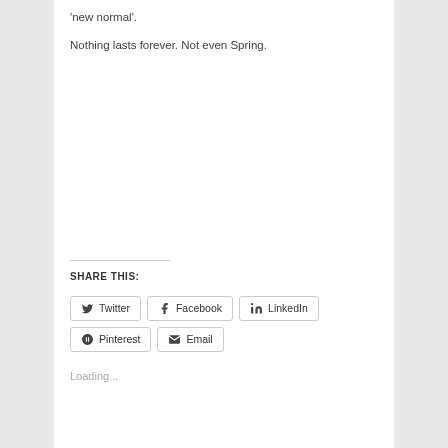'new normal'.
Nothing lasts forever. Not even Spring.
SHARE THIS:
Twitter  Facebook  LinkedIn  Pinterest  Email
Loading...